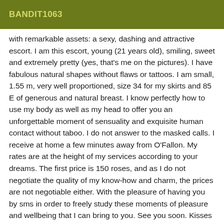BANDIT1063
with remarkable assets: a sexy, dashing and attractive escort. I am this escort, young (21 years old), smiling, sweet and extremely pretty (yes, that's me on the pictures). I have fabulous natural shapes without flaws or tattoos. I am small, 1.55 m, very well proportioned, size 34 for my skirts and 85 E of generous and natural breast. I know perfectly how to use my body as well as my head to offer you an unforgettable moment of sensuality and exquisite human contact without taboo. I do not answer to the masked calls. I receive at home a few minutes away from O'Fallon. My rates are at the height of my services according to your dreams. The first price is 150 roses, and as I do not negotiate the quality of my know-how and charm, the prices are not negotiable either. With the pleasure of having you by sms in order to freely study these moments of pleasure and wellbeing that I can bring to you. See you soon. Kisses and caresses. Jade